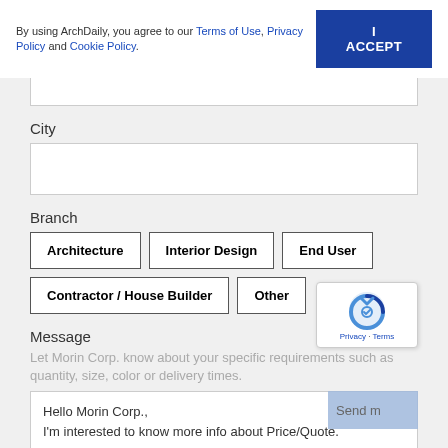By using ArchDaily, you agree to our Terms of Use, Privacy Policy and Cookie Policy.
I ACCEPT
City
Branch
Architecture
Interior Design
End User
Contractor / House Builder
Other
Message
Let Morin Corp. know about your specific requirements such as quantity, size, color or delivery times.
Hello Morin Corp.,
I'm interested to know more info about Price/Quote.